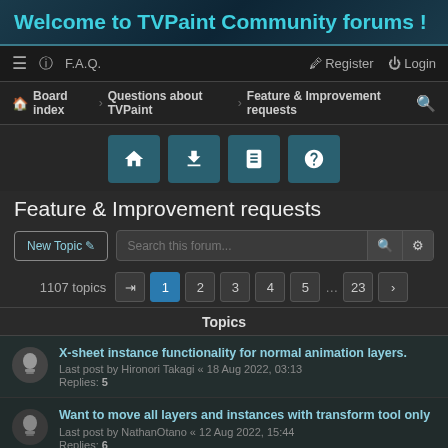Welcome to TVPaint Community forums !
≡  ❓ F.A.Q.  |  Register  Login
Board index › Questions about TVPaint › Feature & Improvement requests 🔍
Feature & Improvement requests
New Topic ✏  Search this forum...
1107 topics  ➡  1 2 3 4 5 … 23 ›
Topics
X-sheet instance functionality for normal animation layers.
Last post by Hironori Takagi « 18 Aug 2022, 03:13
Replies: 5
Want to move all layers and instances with transform tool only
Last post by NathanOtano « 12 Aug 2022, 15:44
Replies: 6
Multiplane Stage needs Minimize button ✔
Last post by D.T. Nethery « 12 Aug 2022, 12:15
Replies: 6